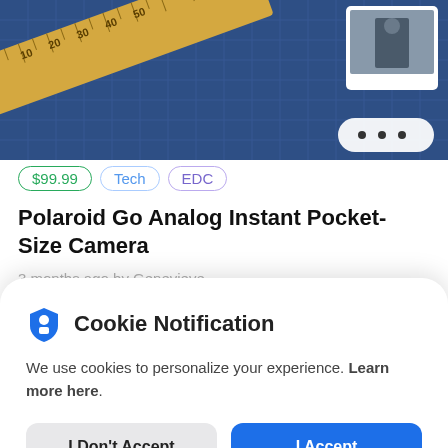[Figure (screenshot): Product listing screenshot showing a blue grid cutting mat background with a measuring tape and a polaroid photo, plus a three-dot menu button]
$99.99  Tech  EDC
Polaroid Go Analog Instant Pocket-Size Camera
3 months ago by Genevieve
[Figure (screenshot): Cookie Notification modal overlay with shield icon, notification text, and two buttons: I Don't Accept and I Accept]
Cookie Notification
We use cookies to personalize your experience. Learn more here.
I Don't Accept
I Accept